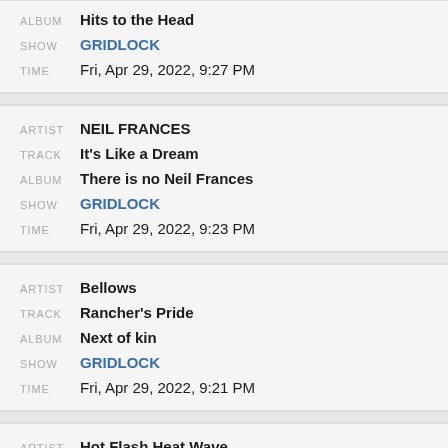ALBUM: Hits to the Head | SHOW: GRIDLOCK | TIME: Fri, Apr 29, 2022, 9:27 PM
ARTIST: NEIL FRANCES | TRACK: It's Like a Dream | ALBUM: There is no Neil Frances | SHOW: GRIDLOCK | TIME: Fri, Apr 29, 2022, 9:23 PM
ARTIST: Bellows | TRACK: Rancher's Pride | ALBUM: Next of kin | SHOW: GRIDLOCK | TIME: Fri, Apr 29, 2022, 9:21 PM
ARTIST: Hot Flash Heat Wave